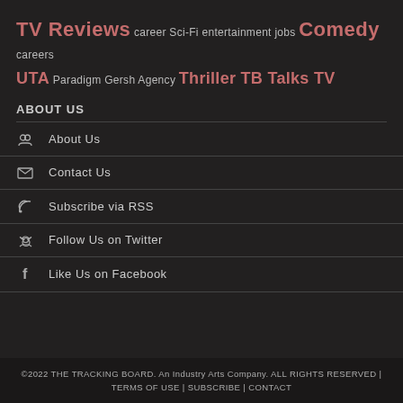TV Reviews career Sci-Fi entertainment jobs Comedy careers UTA Paradigm Gersh Agency Thriller TB Talks TV
ABOUT US
About Us
Contact Us
Subscribe via RSS
Follow Us on Twitter
Like Us on Facebook
©2022 THE TRACKING BOARD. An Industry Arts Company. ALL RIGHTS RESERVED | TERMS OF USE | SUBSCRIBE | CONTACT